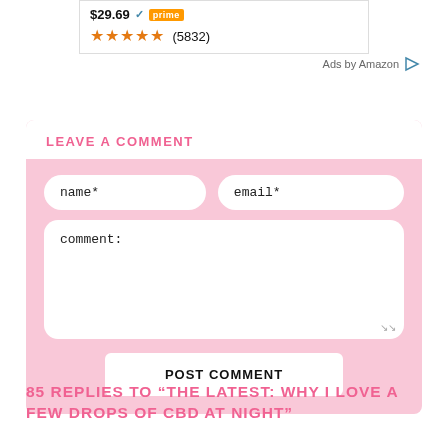[Figure (screenshot): Amazon product ad snippet showing price $29.69, Prime badge, and star rating (5832 reviews)]
Ads by Amazon
LEAVE A COMMENT
[Figure (screenshot): Comment form with name*, email* input fields, comment textarea, and POST COMMENT button on pink background]
85 replies to “THE LATEST: WHY I LOVE A FEW DROPS OF CBD AT NIGHT”